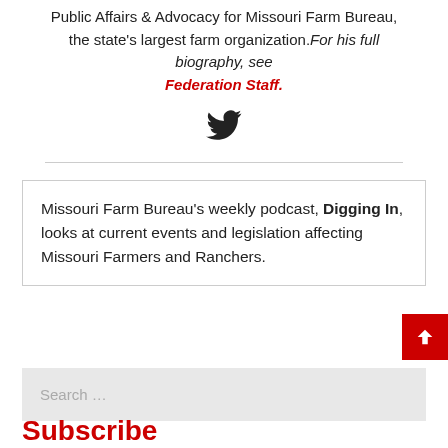Public Affairs & Advocacy for Missouri Farm Bureau, the state's largest farm organization. For his full biography, see Federation Staff.
[Figure (illustration): Twitter bird icon]
Missouri Farm Bureau's weekly podcast, Digging In, looks at current events and legislation affecting Missouri Farmers and Ranchers.
Search ...
Subscribe